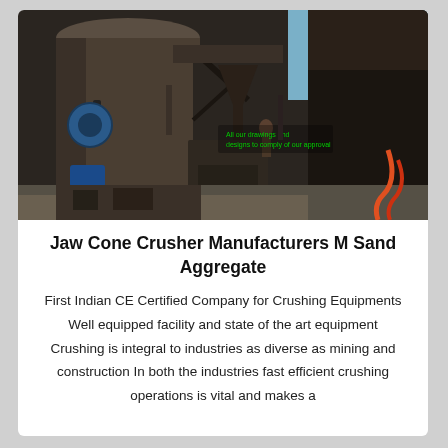[Figure (photo): Industrial crushing/milling equipment facility showing large metal tanks, silos, conveyor machinery and structural steel framework. Dark industrial setting with blue and orange hoses visible.]
Jaw Cone Crusher Manufacturers M Sand Aggregate
First Indian CE Certified Company for Crushing Equipments
Well equipped facility and state of the art equipment
Crushing is integral to industries as diverse as mining and construction In both the industries fast efficient crushing operations is vital and makes a